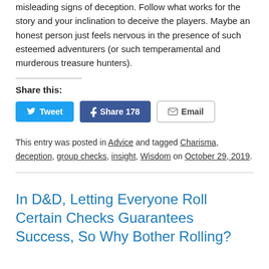misleading signs of deception. Follow what works for the story and your inclination to deceive the players. Maybe an honest person just feels nervous in the presence of such esteemed adventurers (or such temperamental and murderous treasure hunters).
Share this:
[Figure (other): Social share buttons: Tweet (Twitter), Share 178 (Facebook), Email]
This entry was posted in Advice and tagged Charisma, deception, group checks, insight, Wisdom on October 29, 2019.
In D&D, Letting Everyone Roll Certain Checks Guarantees Success, So Why Bother Rolling?